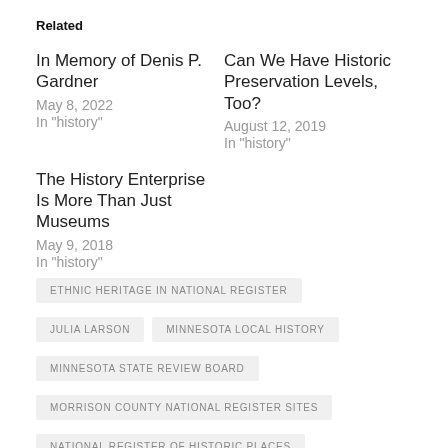Related
In Memory of Denis P. Gardner
May 8, 2022
In "history"
Can We Have Historic Preservation Levels, Too?
August 12, 2019
In "history"
The History Enterprise Is More Than Just Museums
May 9, 2018
In "history"
ETHNIC HERITAGE IN NATIONAL REGISTER
JULIA LARSON
MINNESOTA LOCAL HISTORY
MINNESOTA STATE REVIEW BOARD
MORRISON COUNTY NATIONAL REGISTER SITES
NATIONAL REGISTER OF HISTORIC PLACES